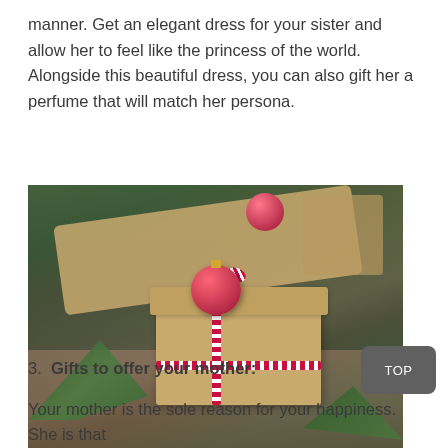manner. Get an elegant dress for your sister and allow her to feel like the princess of the world. Alongside this beautiful dress, you can also gift her a perfume that will match her persona.
[Figure (photo): Photo of Christmas gifts wrapped in brown kraft paper with red and white string bows, a red ornament ball on top of the center gift, pine branches decorating the scene, on a rustic wooden surface with a dark green background.]
3. Gifts to offer your mother:
Your mother is the sole reason for your happiness. She is that